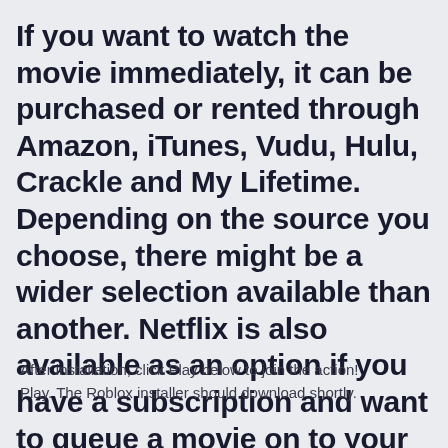If you want to watch the movie immediately, it can be purchased or rented through Amazon, iTunes, Vudu, Hulu, Crackle and My Lifetime. Depending on the source you choose, there might be a wider selection available than another. Netflix is also available as an option if you have a subscription and want to queue a movie on to your account.
After installation, click Play below to join the action! Play. The Roblox installer should download shortly.